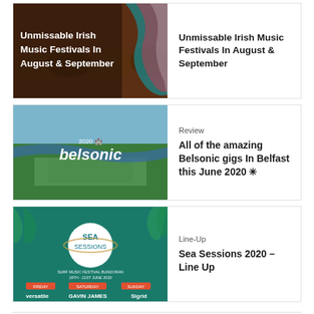[Figure (photo): Thumbnail image of a music festival crowd with colorful swirls, overlaid with white bold text reading 'Unmissable Irish Music Festivals In August & September']
Unmissable Irish Music Festivals In August & September
[Figure (photo): Aerial photograph of Belsonic music festival in Belfast with '2020 belsonic' logo overlay]
Review
All of the amazing Belsonic gigs In Belfast this June 2020 ✳
[Figure (photo): Sea Sessions 2020 promotional poster showing surf music festival at Bundoran with performers Versatile, Gavin James, Sigrid]
Line-Up
Sea Sessions 2020 – Line Up
Home » Festival » State of Play 2019: Festivals in Ireland